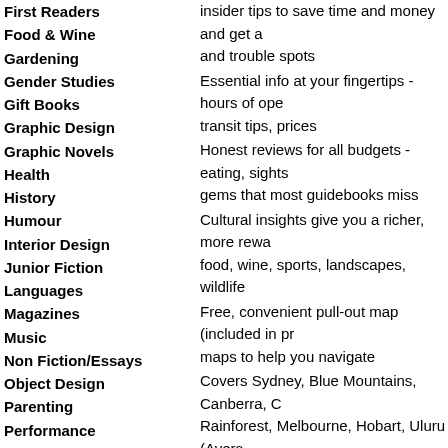First Readers
Food & Wine
Gardening
Gender Studies
Gift Books
Graphic Design
Graphic Novels
Health
History
Humour
Interior Design
Junior Fiction
Languages
Magazines
Music
Non Fiction/Essays
Object Design
Parenting
Performance
Philosophy & Psychology
Photography
insider tips to save time and money and get and trouble spots
Essential info at your fingertips - hours of operation, transit tips, prices
Honest reviews for all budgets - eating, sights, gems that most guidebooks miss
Cultural insights give you a richer, more rewarding experience - food, wine, sports, landscapes, wildlife
Free, convenient pull-out map (included in print) plus maps to help you navigate
Covers Sydney, Blue Mountains, Canberra, Rainforest, Melbourne, Hobart, Uluru (Ayers Perth & Margaret River, Kakadu National Par
The Perfect Choice: Lonely Planet's Best of A colourful photos, and focuses on Australia's r wanting to experience the best of the best.
Visiting an Australian city but just want the hig featuring the top sights and experiences for a
About Lonely Planet: Lonely Planet is a leadi world's number one travel guidebook brand, p trustworthy information for every kind of trave decades, we've printed over 145 million guid